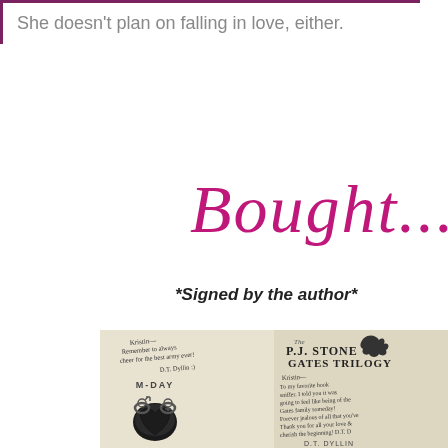She doesn’t plan on falling in love, either.
Bought...
*Signed by the author*
[Figure (photo): Two side-by-side signed book interior pages. Left page shows 'M-Day' with a handwritten author inscription and a heart-shaped grenade graphic. Right page shows 'The P.J. Stone Gates Trilogy' title with a handwritten inscription signed by D.T. Dyllin.]